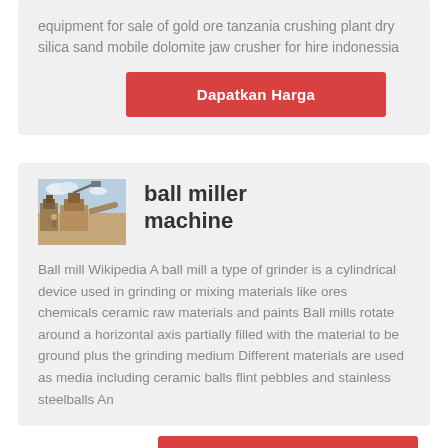equipment for sale of gold ore tanzania crushing plant dry silica sand mobile dolomite jaw crusher for hire indonessia
[Figure (other): Red button labeled 'Dapatkan Harga']
[Figure (photo): Thumbnail photo of mining/crushing equipment machinery outdoors]
ball miller machine
Ball mill Wikipedia A ball mill a type of grinder is a cylindrical device used in grinding or mixing materials like ores chemicals ceramic raw materials and paints Ball mills rotate around a horizontal axis partially filled with the material to be ground plus the grinding medium Different materials are used as media including ceramic balls flint pebbles and stainless steelballs An